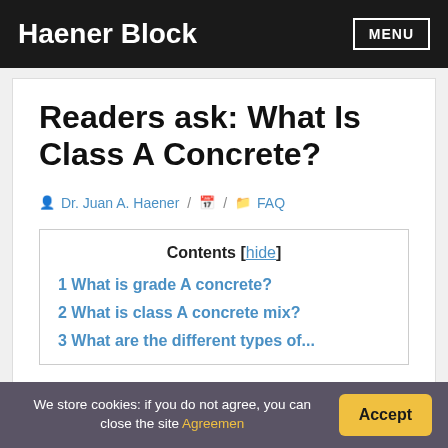Haener Block
Readers ask: What Is Class A Concrete?
Dr. Juan A. Haener / [calendar icon] / FAQ
Contents [hide]
1 What is grade A concrete?
2 What is class A concrete mix?
We store cookies: if you do not agree, you can close the site Agreement